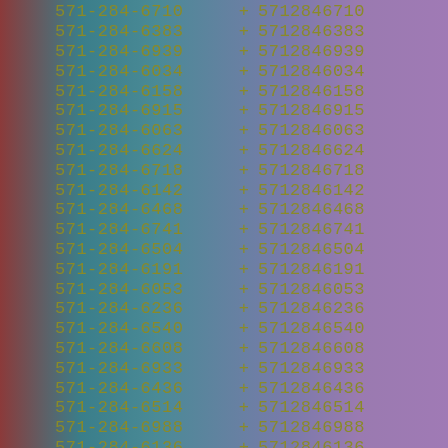571-284-6710 + 5712846710
571-284-6383 + 5712846383
571-284-6939 + 5712846939
571-284-6034 + 5712846034
571-284-6158 + 5712846158
571-284-6915 + 5712846915
571-284-6063 + 5712846063
571-284-6624 + 5712846624
571-284-6718 + 5712846718
571-284-6142 + 5712846142
571-284-6468 + 5712846468
571-284-6741 + 5712846741
571-284-6504 + 5712846504
571-284-6191 + 5712846191
571-284-6053 + 5712846053
571-284-6236 + 5712846236
571-284-6540 + 5712846540
571-284-6608 + 5712846608
571-284-6933 + 5712846933
571-284-6436 + 5712846436
571-284-6514 + 5712846514
571-284-6988 + 5712846988
571-284-6136 + 5712846136